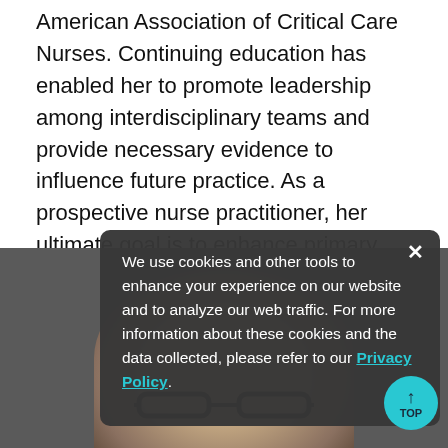American Association of Critical Care Nurses. Continuing education has enabled her to promote leadership among interdisciplinary teams and provide necessary evidence to influence future practice. As a prospective nurse practitioner, her ultimate goal is to enhance primary care of individuals within traditional, vulnerable and culturally diverse families by integrating research findings and professional standards into practice.
[Figure (photo): Photo of a person with dark hair and glasses, partially visible at the bottom of the page, with a dark grey background]
We use cookies and other tools to enhance your experience on our website and to analyze our web traffic. For more information about these cookies and the data collected, please refer to our Privacy Policy.